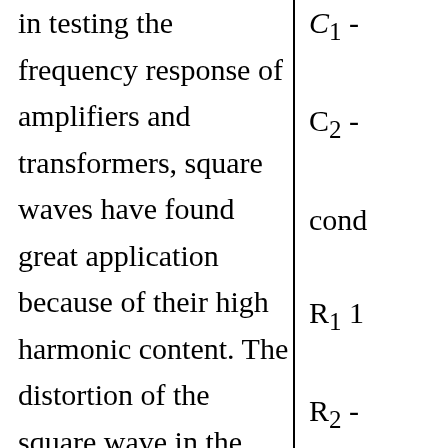in testing the frequency response of amplifiers and transformers, square waves have found great application because of their high harmonic content. The distortion of the square wave in the output of the circuit tested yields a picture of the lack of uniform response
C1 - C2 - cond R1 1 R2 - res. R3 1 R